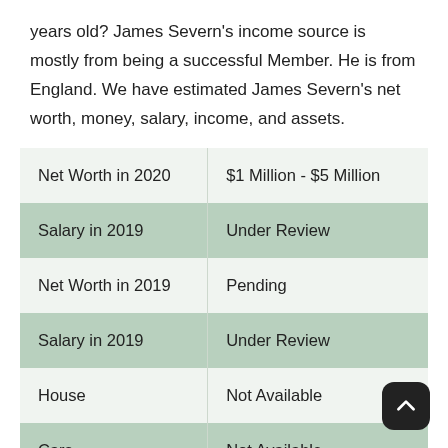years old? James Severn's income source is mostly from being a successful Member. He is from England. We have estimated James Severn's net worth, money, salary, income, and assets.
| Net Worth in 2020 | $1 Million - $5 Million |
| Salary in 2019 | Under Review |
| Net Worth in 2019 | Pending |
| Salary in 2019 | Under Review |
| House | Not Available |
| Cars | Not Available |